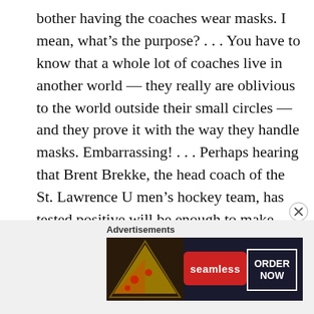bother having the coaches wear masks. I mean, what’s the purpose? . . . You have to know that a whole lot of coaches live in another world — they really are oblivious to the world outside their small circles — and they prove it with the way they handle masks. Embarrassing! . . . Perhaps hearing that Brent Brekke, the head coach of the St. Lawrence U men’s hockey team, has tested positive will be enough to make other coaches, no matter the sport, wear their masks properly at all times. Then, again, maybe not.
Advertisements
[Figure (other): Seamless food delivery advertisement banner showing pizza image on the left, Seamless red logo button in the center, and ORDER NOW button on the right against a dark background.]